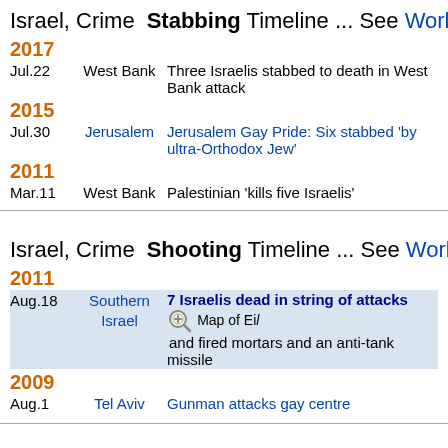Israel, Crime [knife icon] Stabbing Timeline ... See World Stabbing t
2017
Jul.22 | West Bank | Three Israelis stabbed to death in West Bank attack
2015
Jul.30 | Jerusalem | Jerusalem Gay Pride: Six stabbed 'by ultra-Orthodox Jew'
2011
Mar.11 | West Bank | Palestinian 'kills five Israelis'
Israel, Crime [bullet icon] Shooting Timeline ... See World Shooting t
2011
Aug.18 | Southern Israel | 7 Israelis dead in string of attacks [search] Map of Eil... and fired mortars and an anti-tank missile
2009
Aug.1 | Tel Aviv | Gunman attacks gay centre